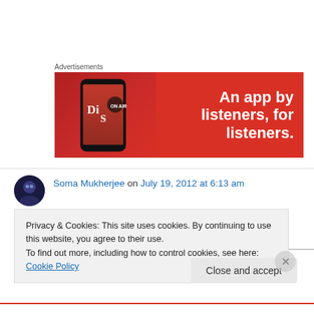Advertisements
[Figure (illustration): Red advertisement banner showing a smartphone with a music app displaying 'Dis...' and bold white text 'An app by listeners, for listeners.']
Soma Mukherjee on July 19, 2012 at 6:13 am
can you write more points cos i am still not able
Privacy & Cookies: This site uses cookies. By continuing to use this website, you agree to their use.
To find out more, including how to control cookies, see here: Cookie Policy